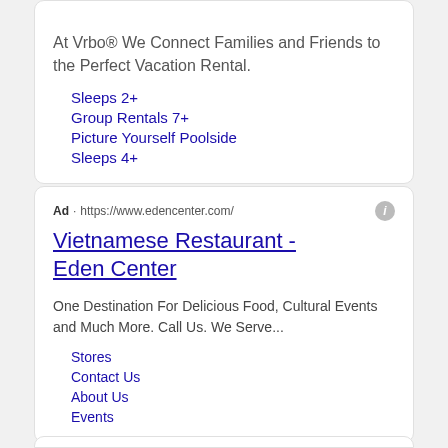At Vrbo® We Connect Families and Friends to the Perfect Vacation Rental.
Sleeps 2+
Group Rentals 7+
Picture Yourself Poolside
Sleeps 4+
Ad · https://www.edencenter.com/
Vietnamese Restaurant - Eden Center
One Destination For Delicious Food, Cultural Events and Much More. Call Us. We Serve...
Stores
Contact Us
About Us
Events